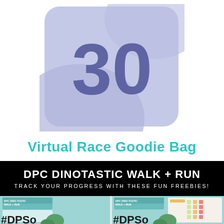[Figure (illustration): A circular badge/icon with a periwinkle-blue/lavender color scheme showing a large bold number '30' in dark blue-purple, with curved ribbon or shield shapes in the background]
Virtual Race Goodie Bag
DPC DINOTASTIC WALK + RUN
TRACK YOUR PROGRESS WITH THESE FUN FREEBIES!
[Figure (illustration): Bottom strip showing two DPC Dino-Tastic Walk + Run promotional/tracker cards partially visible, with colorful dinosaur-themed designs and a hashtag #DPSoc... visible at the bottom]